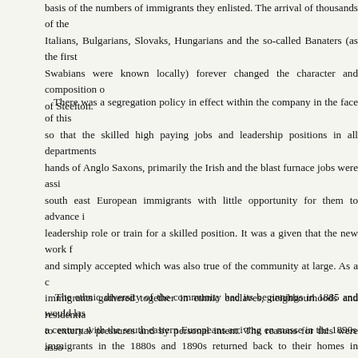basis of the numbers of immigrants they enlisted. The arrival of thousands of the Italians, Bulgarians, Slovaks, Hungarians and the so-called Banaters (as the first Swabians were known locally) forever changed the character and composition of Steelton.
There was a segregation policy in effect within the company in the face of this so that the skilled high paying jobs and leadership positions in all departments hands of Anglo Saxons, primarily the Irish and the blast furnace jobs were assi south east European immigrants with little opportunity for them to advance i leadership role or train for a skilled position. It was a given that the new work and simply accepted which was also true of the community at large. As a c immigrants gathered together in ethnic enclaves, neighbourhoods and residentia to external pressures and by personal intent. The reasons for this were asso resentment they experienced from the “old stock” residents as well as their need with individuals who shared a similar background, language, life style, custom religious faith. In effect they became locked into their ethnic community both du the outside and their inner need to find and build a sense of community.
The ethnic diversity of the community had its beginnings in 1885 and would las a century with the south eastern Europeans arriving en masse in the 1890s immigrants in the 1880s and 1890s returned back to their homes in Europe wit